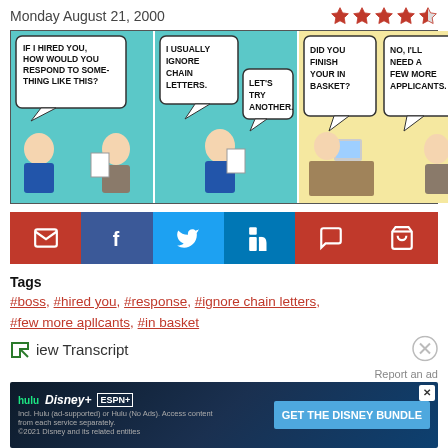Monday August 21, 2000
[Figure (illustration): Dilbert comic strip from Monday August 21, 2000. Three panels: Panel 1 - Boss asks Dilbert 'IF I HIRED YOU, HOW WOULD YOU RESPOND TO SOMETHING LIKE THIS?'. Panel 2 - Dilbert replies 'I USUALLY IGNORE CHAIN LETTERS.' Boss says 'LET'S TRY ANOTHER.' Panel 3 - Boss asks 'DID YOU FINISH YOUR IN BASKET?' Dilbert replies 'NO, I'LL NEED A FEW MORE APPLICANTS.']
[Figure (infographic): Social sharing buttons: email (red), Facebook (blue), Twitter (blue), LinkedIn (blue), comment (red), shopping cart (red)]
Tags
#boss, #hired you, #response, #ignore chain letters, #few more apllcants, #in basket
View Transcript
Report an ad
[Figure (screenshot): Hulu Disney+ ESPN+ advertisement: GET THE DISNEY BUNDLE. Incl. Hulu (ad-supported) or Hulu (No Ads). Access content from each service separately. ©2021 Disney and its related entities]
Monday
[Figure (illustration): Partial comic strip panels at bottom of page showing next strip]